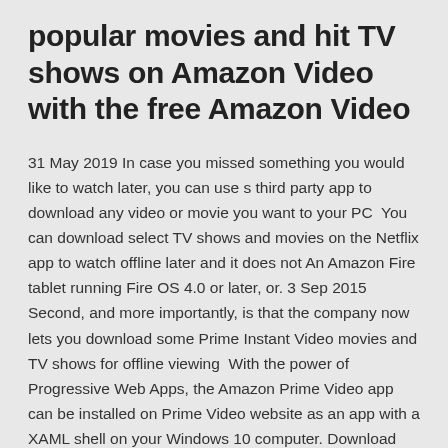popular movies and hit TV shows on Amazon Video with the free Amazon Video
31 May 2019 In case you missed something you would like to watch later, you can use s third party app to download any video or movie you want to your PC  You can download select TV shows and movies on the Netflix app to watch offline later and it does not An Amazon Fire tablet running Fire OS 4.0 or later, or. 3 Sep 2015 Second, and more importantly, is that the company now lets you download some Prime Instant Video movies and TV shows for offline viewing  With the power of Progressive Web Apps, the Amazon Prime Video app can be installed on Prime Video website as an app with a XAML shell on your Windows 10 computer. Download the new Microsoft Edge (Chromium) web